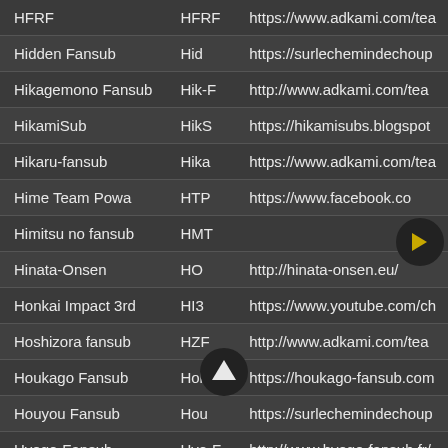| Name | Code | URL |
| --- | --- | --- |
| HFRF | HFRF | https://www.adkami.com/tea |
| Hidden Fansub | Hid | https://surlechemindechoup |
| Hikagemono Fansub | Hik-F | http://www.adkami.com/tea |
| HikamiSub | HikS | https://hikamisubs.blogspot |
| Hikaru-fansub | Hika | https://www.adkami.com/tea |
| Hime Team Powa | HTP | https://www.facebook.com/... |
| Himitsu no fansub | HMT |  |
| Hinata-Onsen | HO | http://hinata-onsen.eu/ |
| Honkai Impact 3rd | HI3 | https://www.youtube.com/ch |
| Hoshizora fansub | HZF | http://www.adkami.com/tea |
| Houkago Fansub | Hok-F | https://houkago-fansub.com |
| Houyou Fansub | Hou | https://surlechemindechoup |
| Hyogo-Fansub | Hyo-F | http://www.hyogo-fansub.fr/ |